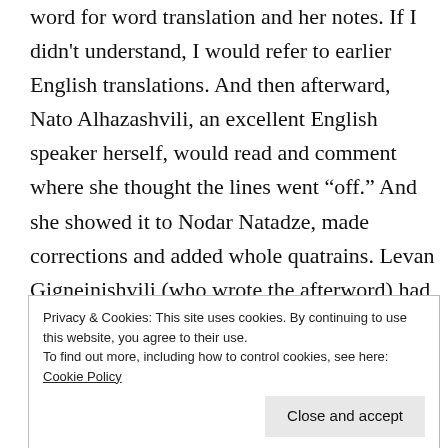word for word translation and her notes. If I didn't understand, I would refer to earlier English translations. And then afterward, Nato Alhazashvili, an excellent English speaker herself, would read and comment where she thought the lines went “off.” And she showed it to Nodar Natadze, made corrections and added whole quatrains. Levan Gigneinishvili (who wrote the afterword) had his say about some passages. The man I originally worked with, Gia Jokhadze, weighed in during the early stages. And so it went. I would revise, send to Dodona
Privacy & Cookies: This site uses cookies. By continuing to use this website, you agree to their use. To find out more, including how to control cookies, see here: Cookie Policy
sometimes seemed to be Rustaveli's. Some